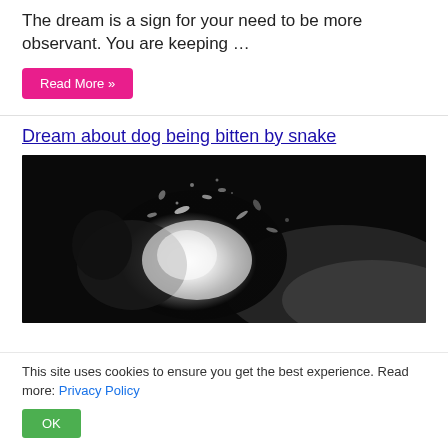The dream is a sign for your need to be more observant. You are keeping …
Read More »
Dream about dog being bitten by snake
[Figure (photo): Black and white dramatic photograph of a dog splashing through water with water droplets suspended mid-air against a dark background]
This site uses cookies to ensure you get the best experience. Read more: Privacy Policy
OK